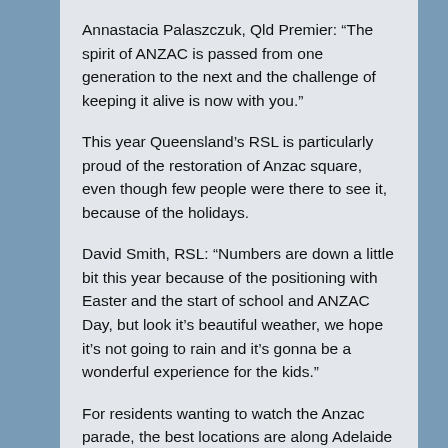Annastacia Palaszczuk, Qld Premier: “The spirit of ANZAC is passed from one generation to the next and the challenge of keeping it alive is now with you.”
This year Queensland’s RSL is particularly proud of the restoration of Anzac square, even though few people were there to see it, because of the holidays.
David Smith, RSL: “Numbers are down a little bit this year because of the positioning with Easter and the start of school and ANZAC Day, but look it’s beautiful weather, we hope it’s not going to rain and it’s gonna be a wonderful experience for the kids.”
For residents wanting to watch the Anzac parade, the best locations are along Adelaide Street between George Street and Creek Street, between 10am and 1pm.